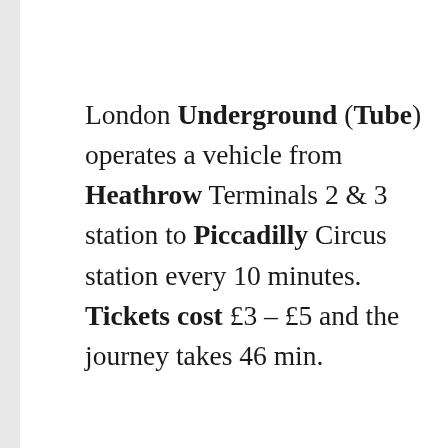London Underground (Tube) operates a vehicle from Heathrow Terminals 2 & 3 station to Piccadilly Circus station every 10 minutes. Tickets cost £3 – £5 and the journey takes 46 min.